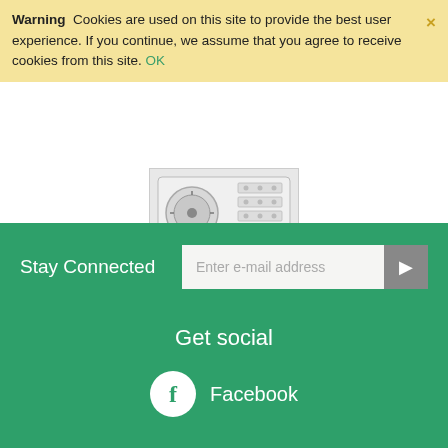Warning  Cookies are used on this site to provide the best user experience. If you continue, we assume that you agree to receive cookies from this site. OK
[Figure (photo): Product image of an auxiliary contacts device — a small thermostat/timer module with a dial and terminals, shown in gray tones.]
Auxiliary contacts
[Sign in to view price]
Stay Connected  Enter e-mail address  ▶
Get social
Facebook